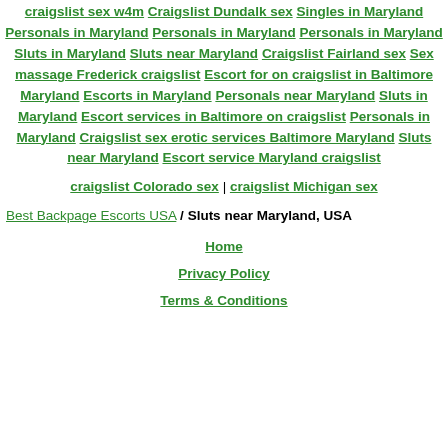craigslist sex w4m  Craigslist Dundalk sex  Singles in Maryland  Personals in Maryland  Personals in Maryland  Personals in Maryland  Sluts in Maryland  Sluts near Maryland  Craigslist Fairland sex  Sex massage Frederick craigslist  Escort for on craigslist in Baltimore Maryland  Escorts in Maryland  Personals near Maryland  Sluts in Maryland  Escort services in Baltimore on craigslist  Personals in Maryland  Craigslist sex erotic services Baltimore Maryland  Sluts near Maryland  Escort service Maryland craigslist
craigslist Colorado sex | craigslist Michigan sex
Best Backpage Escorts USA / Sluts near Maryland, USA
Home
Privacy Policy
Terms & Conditions